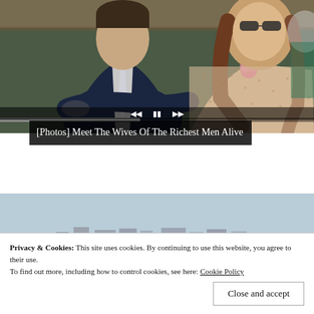[Figure (photo): Two people sitting at what appears to be a sports event. A man in a dark navy suit with a white tie/shirt on the left, and a woman with long brown hair wearing a beige lace outfit with a pink flower accessory on the right, wearing sunglasses.]
[Photos] Meet The Wives Of The Richest Men Alive
[Figure (photo): Partial view of a second image showing a light blue sky with some structures visible at the bottom, partially obscured by the cookie consent banner.]
Privacy & Cookies: This site uses cookies. By continuing to use this website, you agree to their use.
To find out more, including how to control cookies, see here: Cookie Policy
Close and accept